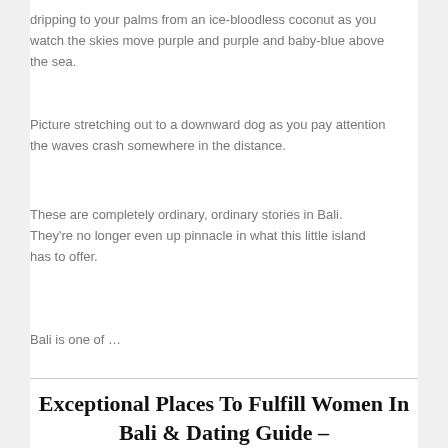dripping to your palms from an ice-bloodless coconut as you watch the skies move purple and purple and baby-blue above the sea.
Picture stretching out to a downward dog as you pay attention the waves crash somewhere in the distance.
These are completely ordinary, ordinary stories in Bali. They’re no longer even up pinnacle in what this little island has to offer.
Bali is one of …
Exceptional Places To Fulfill Women In Bali & Dating Guide – Worlddatingguides
Posted on July 7, 2022 by Albert Murphy